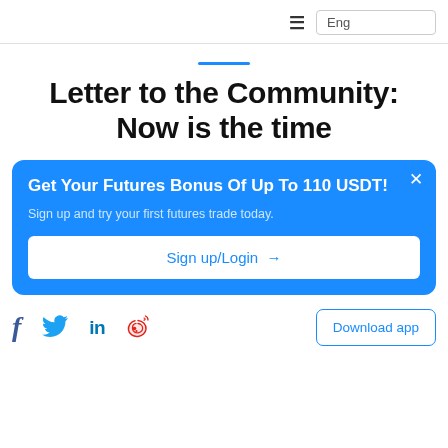≡  Eng
Letter to the Community: Now is the time
[Figure (infographic): Blue promotional banner: 'Get Your Futures Bonus Of Up To 110 USDT! Sign up and try your first futures trade today.' with a Sign up/Login button and close X icon.]
Facebook, Twitter, LinkedIn, Weibo social icons | Download app button